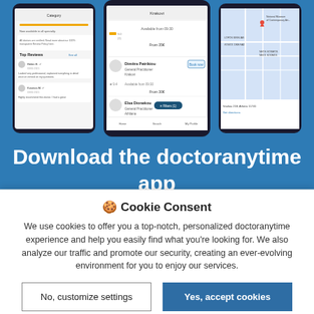[Figure (screenshot): Three smartphone mockups showing the doctoranytime app UI: doctor reviews screen, doctor search/booking screen with Dimitra Patrikiou and Elsa Dionekou listings, and a map view of Athens doctor locations.]
Download the doctoranytime app
🍪 Cookie Consent
We use cookies to offer you a top-notch, personalized doctoranytime experience and help you easily find what you're looking for. We also analyze our traffic and promote our security, creating an ever-evolving environment for you to enjoy our services.
No, customize settings
Yes, accept cookies